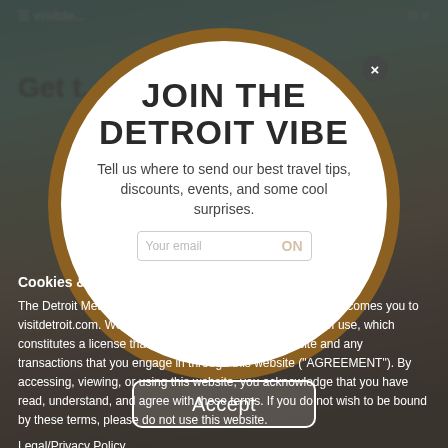[Figure (screenshot): Blurred background of visitdetroit.com website with green header bar]
JOIN THE DETROIT VIBE
Tell us where to send our best travel tips, discounts, events, and some cool surprises.
Cookies & Privacy
The Detroit Metro Convention & Visitors Bureau (DMCVB) welcomes you to visitdetroit.com. We ask that you read the following terms of use, which constitutes a license that covers your use of this website and any transactions that you engage in through this website ("AGREEMENT"). By accessing, viewing, or using this website, you acknowledge that you have read, understand, and agree with these terms. If you do not wish to be bound by these terms, please do not use this website.
Legal/Privacy Policy
Accept